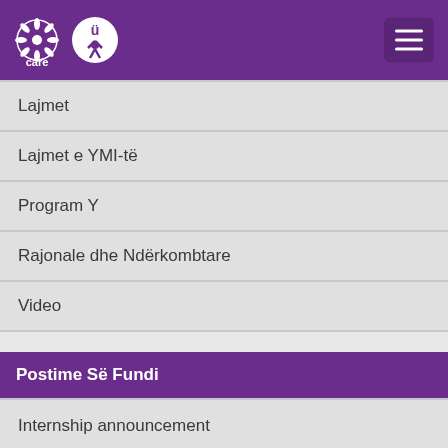CARE / YMI logo header with navigation
Lajmet
Lajmet e YMI-të
Program Y
Rajonale dhe Ndërkombtare
Video
Postime Së Fundi
Internship announcement
YMI INITIAL CARE STAFF MEETING- 22-23 JULY, BELGRADE